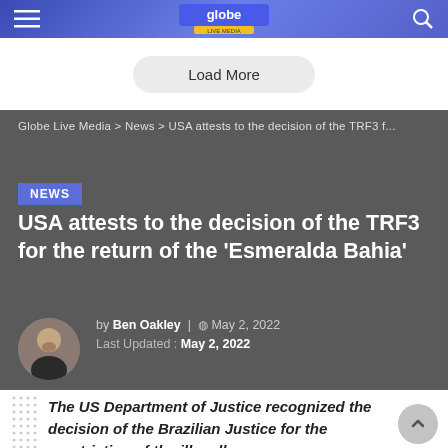Globe Live Media
Load More
Globe Live Media > News > USA attests to the decision of the TRF3 f...
NEWS
USA attests to the decision of the TRF3 for the return of the 'Esmeralda Bahia'
by Ben Oakley | May 2, 2022
Last Updated: May 2, 2022
The US Department of Justice recognized the decision of the Brazilian Justice for the repatriation of the illegally